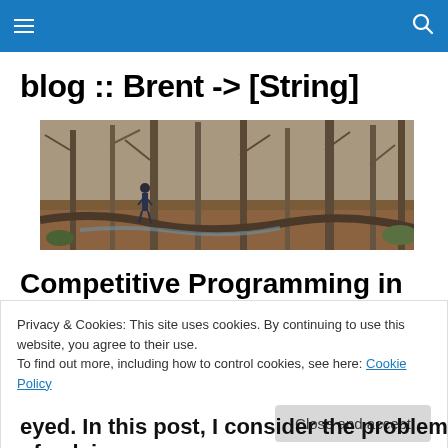Navigation bar with hamburger menu and search icon
blog :: Brent -> [String]
[Figure (photo): A person standing in a forest with bare winter trees, near a stream with fallen logs and branches on the ground.]
Competitive Programming in
Privacy & Cookies: This site uses cookies. By continuing to use this website, you agree to their use.
To find out more, including how to control cookies, see here: Cookie Policy
Close and accept
eyed. In this post, I consider the problem of solving